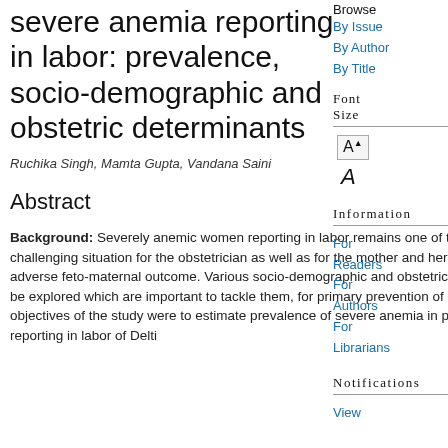severe anemia reporting in labor: prevalence, socio-demographic and obstetric determinants
Ruchika Singh, Mamta Gupta, Vandana Saini
Abstract
Background: Severely anemic women reporting in labor remains one of the most important challenging situation for the obstetrician as well as for the mother and her family due to its adverse feto-maternal outcome. Various socio-demographic and obstetric conditions need to be explored which are important to tackle them, for primary prevention of anemia. The aim and objectives of the study were to estimate prevalence of severe anemia in pregnant women reporting in labor at a tertiary hospital of Delhi...
Browse
By Issue
By Author
By Title
Font Size
Information
For Readers
For Authors
For Librarians
Notifications
View